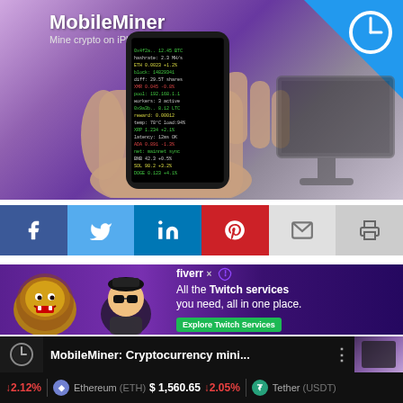[Figure (screenshot): MobileMiner promotional screenshot showing a hand holding an iPhone with cryptocurrency mining data on screen, purple background, blue corner triangle with clock icon. Text: MobileMiner, Mine crypto on iPhone.]
[Figure (infographic): Social sharing buttons row: Facebook (blue), Twitter (light blue), LinkedIn (blue), Pinterest (red), Email (light gray), Print (gray)]
[Figure (screenshot): Fiverr advertisement banner with Twitch services: 'fiverr x Twitch' logo, illustrated characters (lion, person with sunglasses), text: 'All the Twitch services you need, all in one place.' with green button 'Explore Twitch Services']
[Figure (screenshot): Video thumbnail showing MobileMiner: Cryptocurrency mini... title on dark background with clock icon]
↓2.12%  Ethereum (ETH) $1,560.65 ↓2.05%  Tether (USDT)